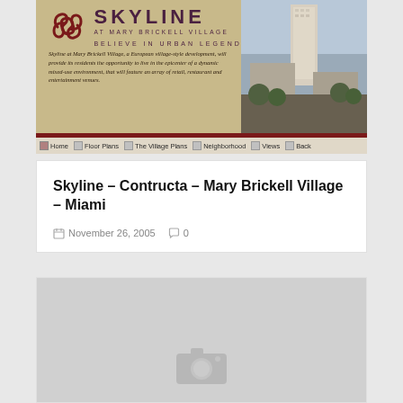[Figure (screenshot): Skyline at Mary Brickell Village website screenshot showing logo, tagline 'Believe in Urban Legends', aerial building photo, description text, and navigation bar with Home, Floor Plans, The Village Plans, Neighborhood, Views, Back links]
Skyline – Contructa – Mary Brickell Village – Miami
November 26, 2005   0
[Figure (photo): Placeholder image card with camera icon]